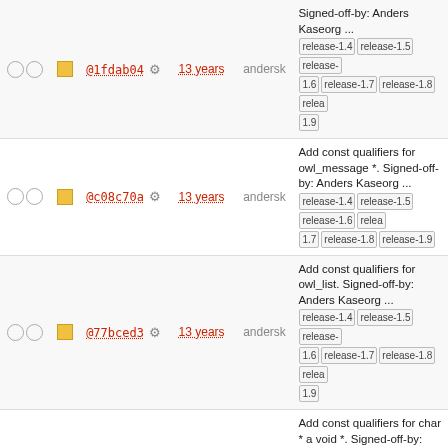|  |  | Hash | Age | Author | Message |
| --- | --- | --- | --- | --- | --- |
| ○○ | □ | @1fdab04 ⚙ | 13 years | andersk | Signed-off-by: Anders Kaseorg ... release-1.4 release-1.5 release-1.6 release-1.7 release-1.8 release-1.9 |
| ○○ | □ | @c08c70a ⚙ | 13 years | andersk | Add const qualifiers for owl_message *. Signed-off-by: Anders Kaseorg ... release-1.4 release-1.5 release-1.6 release-1.7 release-1.8 release-1.9 |
| ○○ | □ | @77bced3 ⚙ | 13 years | andersk | Add const qualifiers for owl_list. Signed-off-by: Anders Kaseorg ... release-1.4 release-1.5 release-1.6 release-1.7 release-1.8 release-1.9 |
| ○○ | □ | @e19eb97 ⚙ | 13 years | andersk | Add const qualifiers for char * a void *. Signed-off-by: Anders ... release-1.4 release-1.5 release-1.6 release-1.7 release-1.8 release-1.9 |
| ○○ | □ | @65b2173 ⚙ | 13 years | andersk | Split up declarations for adding const qualifiers for char * and v ... release-1.4 release-1.5 release-1.6 release-1.7 release-1.8 release-1.9 |
| ○○ | □ | @41c9a96 ⚙ | 13 years | andersk | Reimplement search in terms of owl_regex. The current implementation ... release-1.4 release-1.5 release-1.6 release-1.7 release-1.8 release-1.9 |
| ○○ | □ | @898eb15 ⚙ | 13 years | andersk | Lose g->searchactive in favor of g->searchstring != NULL. ... release-1.4 release-1.5 release-1.6 release-1.7 release-1.8 release-1.9 |